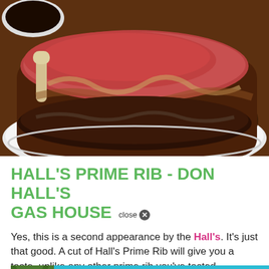[Figure (photo): Close-up photo of a large cut of prime rib roast on a white plate, with a dark bowl visible in the upper left corner. The meat is deeply browned on the outside with a red-pink interior visible at the top.]
HALL'S PRIME RIB - DON HALL'S GAS HOUSE
Yes, this is a second appearance by the Hall's. It's just that good. A cut of Hall's Prime Rib will give you a taste, unlike any other prime rib you've tasted before. [partially obscured] roaste [partially obscured]. The
[Figure (screenshot): Ad overlay banner with a tiger photo on the left and text 'Zoo Open Daily / See Details >' on a teal/cyan background. A close button labeled 'close x' appears above the banner.]